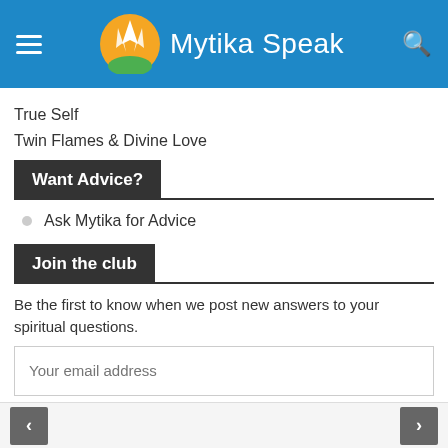Mytika Speak
True Self
Twin Flames & Divine Love
Want Advice?
Ask Mytika for Advice
Join the club
Be the first to know when we post new answers to your spiritual questions.
Your email address
SIGN ME UP